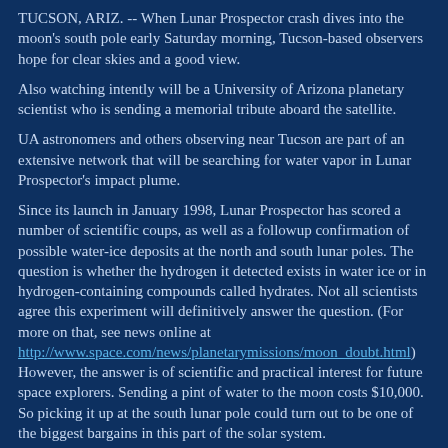TUCSON, ARIZ. -- When Lunar Prospector crash dives into the moon's south pole early Saturday morning, Tucson-based observers hope for clear skies and a good view.
Also watching intently will be a University of Arizona planetary scientist who is sending a memorial tribute aboard the satellite.
UA astronomers and others observing near Tucson are part of an extensive network that will be searching for water vapor in Lunar Prospector's impact plume.
Since its launch in January 1998, Lunar Prospector has scored a number of scientific coups, as well as a followup confirmation of possible water-ice deposits at the north and south lunar poles. The question is whether the hydrogen it detected exists in water ice or in hydrogen-containing compounds called hydrates. Not all scientists agree this experiment will definitively answer the question. (For more on that, see news online at http://www.space.com/news/planetarymissions/moon_doubt.html) However, the answer is of scientific and practical interest for future space explorers. Sending a pint of water to the moon costs $10,000. So picking it up at the south lunar pole could turn out to be one of the biggest bargains in this part of the solar system.
Aerospace engineers at the University of Texas in Austin were the first to conceive of crashing Lunar Prospector into a frigid,